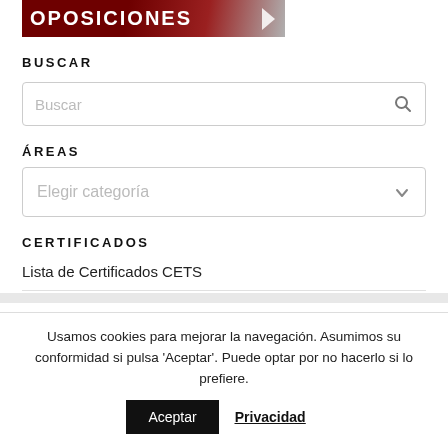[Figure (illustration): Dark red/maroon banner with white bold text 'OPOSICIONES' in uppercase and a white arrow chevron on the right]
BUSCAR
[Figure (other): Search input box with placeholder text 'Buscar' and a magnifying glass icon on the right]
ÁREAS
[Figure (other): Dropdown select box with placeholder text 'Elegir categoría' and a chevron/arrow on the right]
CERTIFICADOS
Lista de Certificados CETS
Usamos cookies para mejorar la navegación. Asumimos su conformidad si pulsa 'Aceptar'. Puede optar por no hacerlo si lo prefiere.
Aceptar  Privacidad